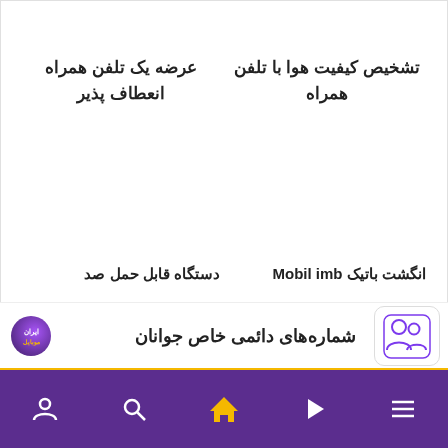عرضه یک تلفن همراه انعطاف پذیر
تشخیص کیفیت هوا با تلفن همراه
دستگاه قابل حمل صد
انگشت باتیک Mobil imb
[Figure (screenshot): Advertisement banner: شماره‌های دائمی خاص جوانان (Permanent special numbers for youth) with Iranamobile logo and an icon of two people]
[Figure (screenshot): Purple navigation bar with user, search, home (highlighted in yellow), play, and menu icons]